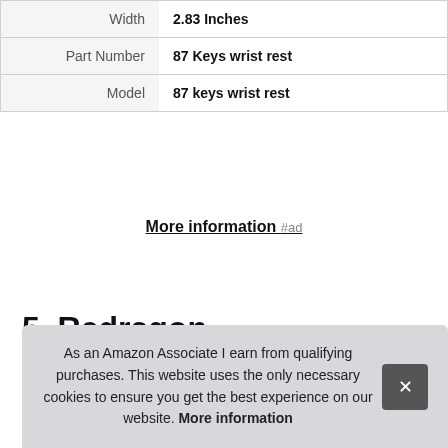| Width | 2.83 Inches |
| Part Number | 87 Keys wrist rest |
| Model | 87 keys wrist rest |
More information #ad
5. Redragon
#ad
As an Amazon Associate I earn from qualifying purchases. This website uses the only necessary cookies to ensure you get the best experience on our website. More information